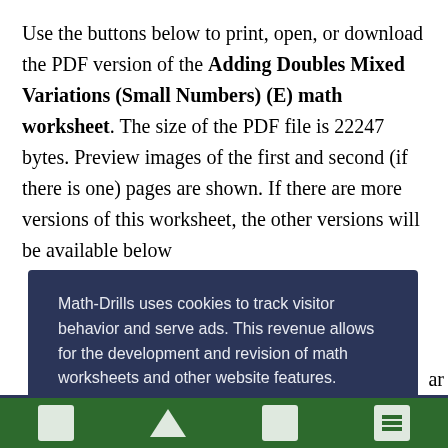Use the buttons below to print, open, or download the PDF version of the Adding Doubles Mixed Variations (Small Numbers) (E) math worksheet. The size of the PDF file is 22247 bytes. Preview images of the first and second (if there is one) pages are shown. If there are more versions of this worksheet, the other versions will be available below the preview images. For more like this, use the search bar to search for some or all of these keywords: addition, …on,
Math-Drills uses cookies to track visitor behavior and serve ads. This revenue allows for the development and revision of math worksheets and other website features.
Privacy and Cookies Policy
Decline
Allow All Cookies